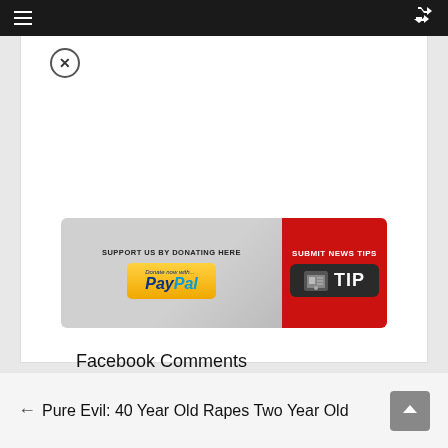Navigation bar with hamburger menu and shuffle icon
[Figure (infographic): Banner with two sections: left grey section 'SUPPORT US BY DONATING HERE' with PayPal button, right red section 'SUBMIT NEWS TIPS' with TIP button]
Facebook Comments
[Figure (infographic): Social share icons: Facebook (blue), Twitter (light blue), and a plus/more button (blue)]
← Pure Evil: 40 Year Old Rapes Two Year Old